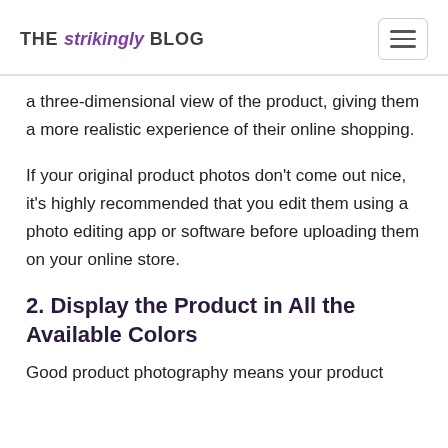THE strikingly BLOG
a three-dimensional view of the product, giving them a more realistic experience of their online shopping.
If your original product photos don't come out nice, it's highly recommended that you edit them using a photo editing app or software before uploading them on your online store.
2. Display the Product in All the Available Colors
Good product photography means your product